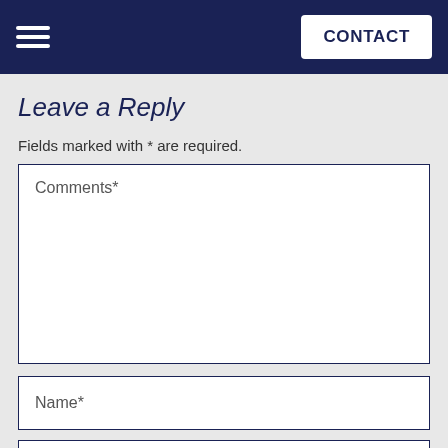CONTACT
Leave a Reply
Fields marked with * are required.
Comments*
Name*
Email*
POST COMMENT